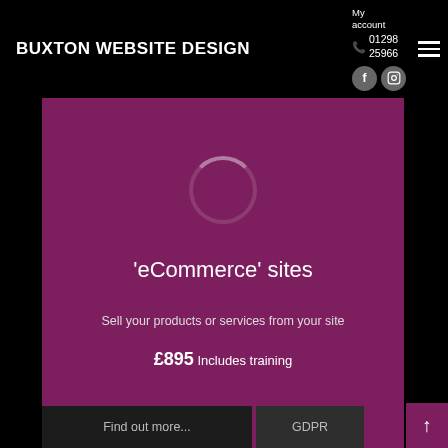BUXTON WEBSITE DESIGN
My account
01298 25966
[Figure (screenshot): Buxton Website Design website header with logo, phone number, Facebook and Instagram social icons, and hamburger menu on black background]
'eCommerce' sites
Sell your products or services from your site
£895 Includes training
Find out more...
GDPR